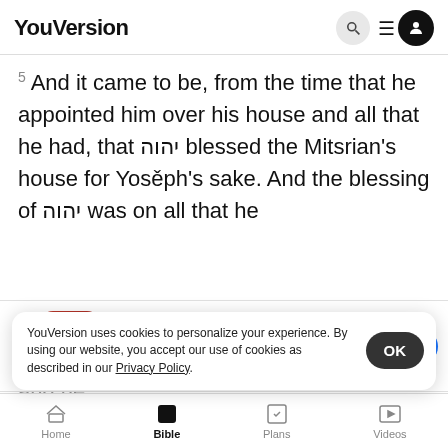YouVersion
5 And it came to be, from the time that he appointed him over his house and all that he had, that יהוה blessed the Mitsrian's house for Yosěph's sake. And the blessing of יהוה was on all that he
[Figure (screenshot): App install banner: The Bible App with 5 stars, 7.9M reviews, Download button]
and he bread w form and handsome in appearance
YouVersion uses cookies to personalize your experience. By using our website, you accept our use of cookies as described in our Privacy Policy.
Home  Bible  Plans  Videos